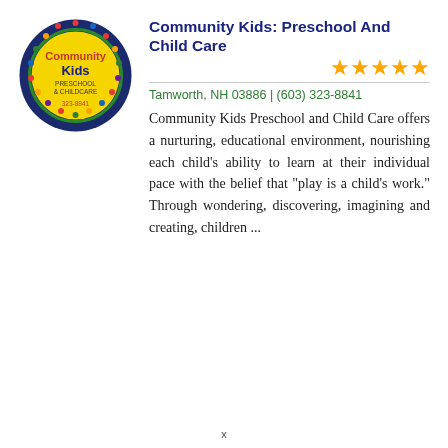[Figure (logo): Community Kids Preschool & Childcare circular logo with colorful figures around the border, yellow center with 'Community Kids' text and '323-8841' phone number]
Community Kids: Preschool And Child Care
[Figure (infographic): Five gold star rating icons]
Tamworth, NH 03886 | (603) 323-8841
Community Kids Preschool and Child Care offers a nurturing, educational environment, nourishing each child's ability to learn at their individual pace with the belief that "play is a child's work." Through wondering, discovering, imagining and creating, children ...
x